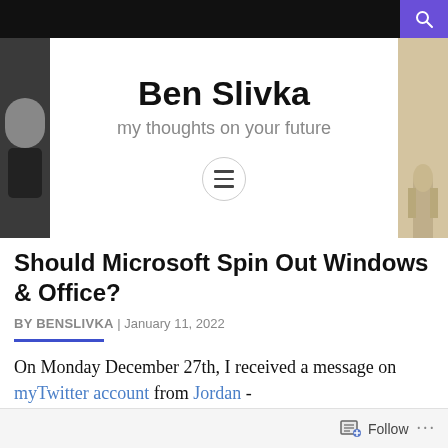Ben Slivka — my thoughts on your future
Should Microsoft Spin Out Windows & Office?
BY BENSLIVKA | January 11, 2022
On Monday December 27th, I received a message on my Twitter account from Jordan -